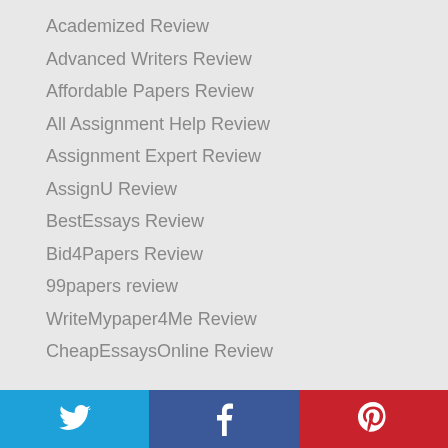Academized Review
Advanced Writers Review
Affordable Papers Review
All Assignment Help Review
Assignment Expert Review
AssignU Review
BestEssays Review
Bid4Papers Review
99papers review
WriteMypaper4Me Review
CheapEssaysOnline Review
[Figure (infographic): Social share bar with Twitter (blue), Facebook (dark blue), and Pinterest (red) buttons]